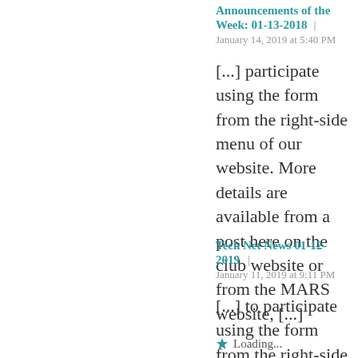Announcements of the Week: 01-13-2018
January 14, 2019 at 5:40 PM
[...] participate using the form from the right-side menu of our website. More details are available from a post here on the club website or from the MARS website, [...]
Loading...
Log in to Reply
Tech Net News 01-12-2019
January 11, 2019 at 9:11 PM
[...] to participate using the form from the right-side menu of our website. More details are